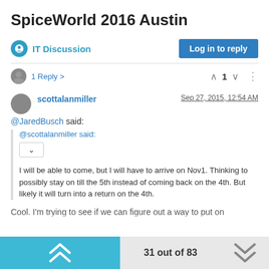SpiceWorld 2016 Austin
IT Discussion
Log in to reply
1 Reply >
1
scottalanmiller
Sep 27, 2015, 12:54 AM
@JaredBusch said:
@scottalanmiller said:
I will be able to come, but I will have to arrive on Nov1. Thinking to possibly stay on till the 5th instead of coming back on the 4th. But likely it will turn into a return on the 4th.
Cool. I'm trying to see if we can figure out a way to put on
31 out of 83